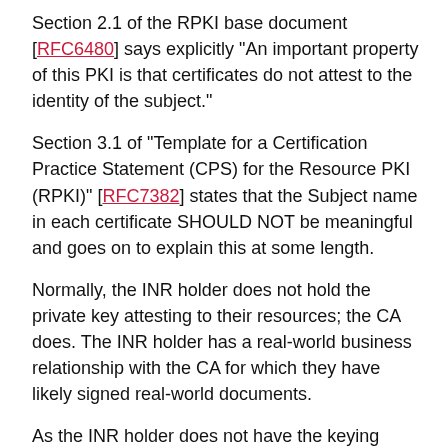Section 2.1 of the RPKI base document [RFC6480] says explicitly "An important property of this PKI is that certificates do not attest to the identity of the subject."
Section 3.1 of "Template for a Certification Practice Statement (CPS) for the Resource PKI (RPKI)" [RFC7382] states that the Subject name in each certificate SHOULD NOT be meaningful and goes on to explain this at some length.
Normally, the INR holder does not hold the private key attesting to their resources; the CA does. The INR holder has a real-world business relationship with the CA for which they have likely signed real-world documents.
As the INR holder does not have the keying material, they rely on the CA, to which they presumably present credentials, to manipulate their INRs. These credentials may be user ID and password (with two-factor authentication one hopes), a hardware token, client browser certificates,